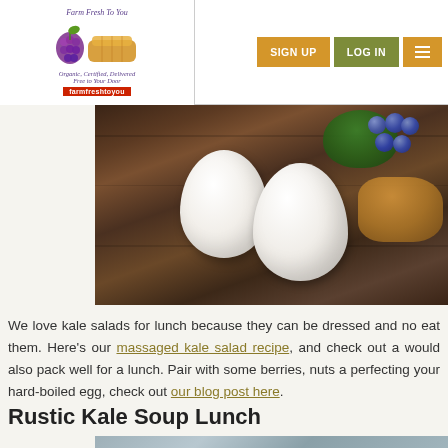Farm Fresh To You — SIGN UP | LOG IN | Menu
[Figure (photo): Photo of two white hard-boiled eggs on a rustic wooden board, with a bowl of herbs, walnuts, and blueberries in the background]
We love kale salads for lunch because they can be dressed and no eat them. Here's our massaged kale salad recipe, and check out a would also pack well for a lunch. Pair with some berries, nuts a perfecting your hard-boiled egg, check out our blog post here.
Rustic Kale Soup Lunch
[Figure (photo): Partial photo of rustic surface, bottom of page]